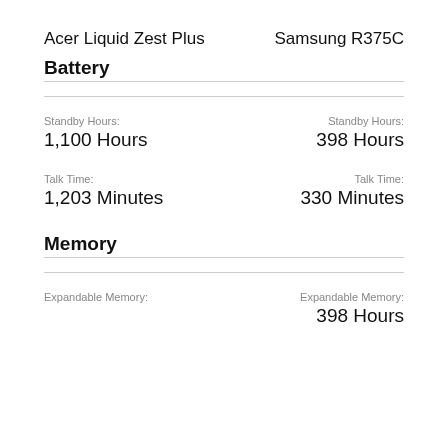Acer Liquid Zest Plus
Samsung R375C
Battery
Standby Hours: 1,100 Hours
Standby Hours: 398 Hours
Talk Time: 1,203 Minutes
Talk Time: 330 Minutes
Memory
Expandable Memory:
Expandable Memory: 398 Hours